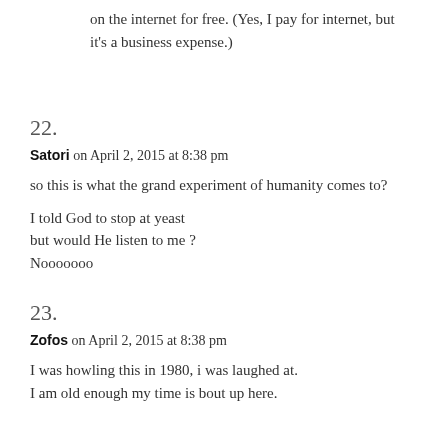on the internet for free. (Yes, I pay for internet, but it’s a business expense.)
22.
Satori on April 2, 2015 at 8:38 pm
so this is what the grand experiment of humanity comes to?
I told God to stop at yeast
but would He listen to me ?
Nooooooo
23.
Zofos on April 2, 2015 at 8:38 pm
I was howling this in 1980, i was laughed at.
I am old enough my time is bout up here.